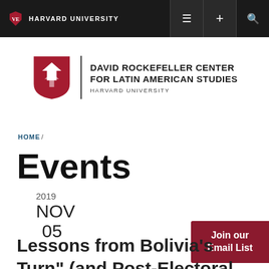HARVARD UNIVERSITY
[Figure (logo): David Rockefeller Center for Latin American Studies, Harvard University logo with crimson shield]
HOME /
Events
2019
NOV
05
Join our Email List
Lessons from Bolivia's Turn" (and Post-Electoral